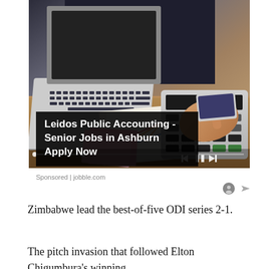[Figure (photo): Photo of a person's hands typing on a laptop keyboard and using a calculator on a wooden desk, with papers and charts visible underneath. Media playback controls (skip back, pause, skip forward) and a progress bar are overlaid at the bottom of the image.]
Leidos Public Accounting - Senior Jobs in Ashburn Apply Now
Sponsored | jobble.com
Zimbabwe lead the best-of-five ODI series 2-1.
The pitch invasion that followed Elton Chigumbura's winning